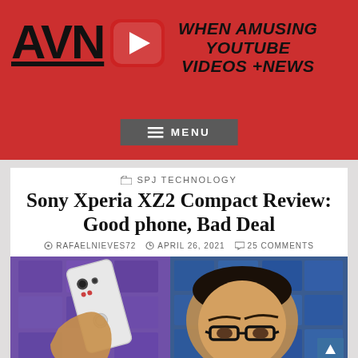AVN — WHEN AMUSING YOUTUBE VIDEOS +NEWS
MENU
SPJ TECHNOLOGY
Sony Xperia XZ2 Compact Review: Good phone, Bad Deal
RAFAELNIEVES72 | APRIL 26, 2021 | 25 COMMENTS
[Figure (photo): Man holding up white Sony Xperia XZ2 Compact phone showing its back, with person wearing glasses visible in background, purple and blue tiled background]